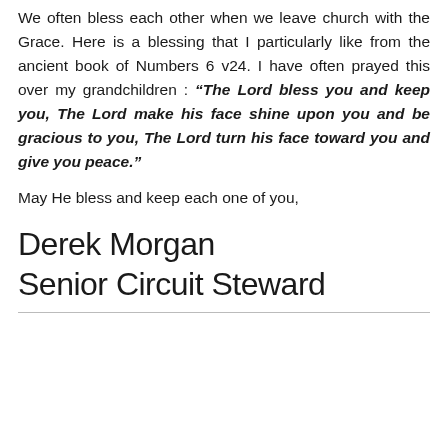We often bless each other when we leave church with the Grace. Here is a blessing that I particularly like from the ancient book of Numbers 6 v24. I have often prayed this over my grandchildren : “The Lord bless you and keep you, The Lord make his face shine upon you and be gracious to you, The Lord turn his face toward you and give you peace.”
May He bless and keep each one of you,
Derek Morgan
Senior Circuit Steward